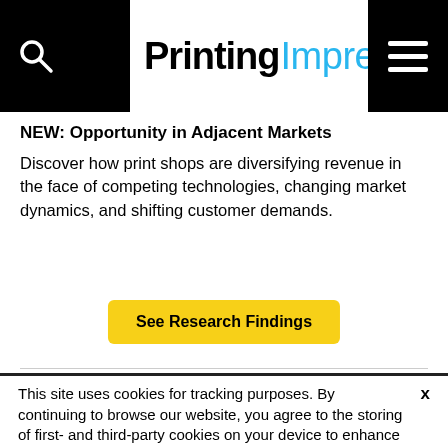Printing Impressions
NEW: Opportunity in Adjacent Markets
Discover how print shops are diversifying revenue in the face of competing technologies, changing market dynamics, and shifting customer demands.
See Research Findings
This site uses cookies for tracking purposes. By continuing to browse our website, you agree to the storing of first- and third-party cookies on your device to enhance site navigation, analyze site usage, and assist in our marketing and
Accept and Close ✕
Your browser settings do not allow cross-site tracking for advertising. Click on this page to allow AdRoll to use cross-site tracking to tailor ads to you. Learn more or opt out of this AdRoll tracking by clicking here. This message only appears once.